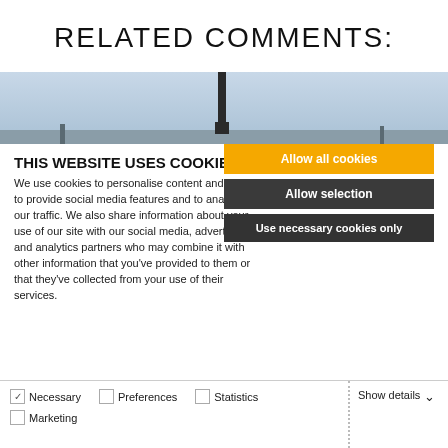RELATED COMMENTS:
[Figure (photo): A tall industrial chimney or antenna structure against a pale blue sky, shown as a narrow horizontal strip photo.]
THIS WEBSITE USES COOKIES
We use cookies to personalise content and ads, to provide social media features and to analyse our traffic. We also share information about your use of our site with our social media, advertising and analytics partners who may combine it with other information that you've provided to them or that they've collected from your use of their services.
Allow all cookies
Allow selection
Use necessary cookies only
Necessary   Preferences   Statistics   Show details
Marketing